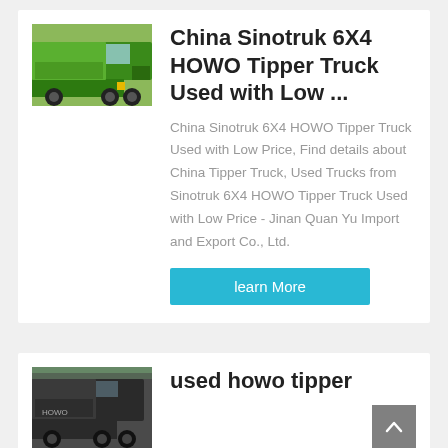[Figure (photo): Green Sinotruk HOWO tipper/dump truck parked outdoors]
China Sinotruk 6X4 HOWO Tipper Truck Used with Low ...
China Sinotruk 6X4 HOWO Tipper Truck Used with Low Price, Find details about China Tipper Truck, Used Trucks from Sinotruk 6X4 HOWO Tipper Truck Used with Low Price - Jinan Quan Yu Import and Export Co., Ltd.
learn More
[Figure (photo): Dark colored used HOWO tipper truck parked near trees]
used howo tipper